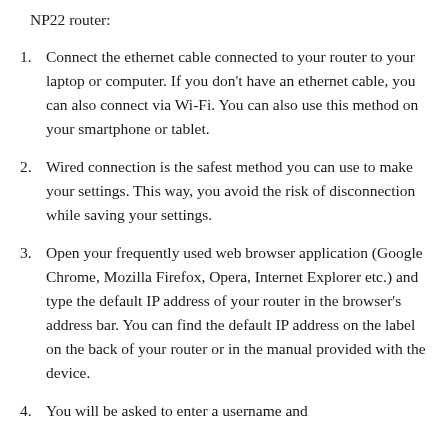NP22 router:
Connect the ethernet cable connected to your router to your laptop or computer. If you don't have an ethernet cable, you can also connect via Wi-Fi. You can also use this method on your smartphone or tablet.
Wired connection is the safest method you can use to make your settings. This way, you avoid the risk of disconnection while saving your settings.
Open your frequently used web browser application (Google Chrome, Mozilla Firefox, Opera, Internet Explorer etc.) and type the default IP address of your router in the browser's address bar. You can find the default IP address on the label on the back of your router or in the manual provided with the device.
You will be asked to enter a username and